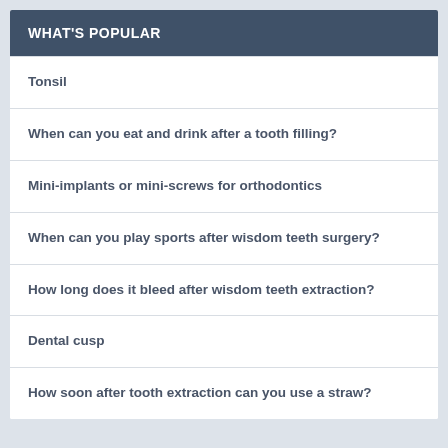WHAT'S POPULAR
Tonsil
When can you eat and drink after a tooth filling?
Mini-implants or mini-screws for orthodontics
When can you play sports after wisdom teeth surgery?
How long does it bleed after wisdom teeth extraction?
Dental cusp
How soon after tooth extraction can you use a straw?